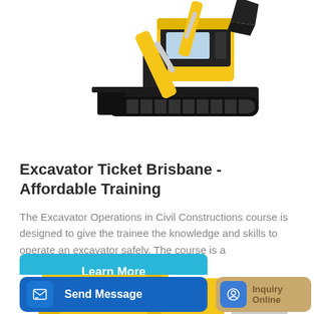[Figure (photo): Yellow and black mini excavator / compact excavator photographed on white background, showing bucket arm raised at top and tracks at bottom]
Excavator Ticket Brisbane - Affordable Training
The Excavator Operations in Civil Constructions course is designed to give the trainee the knowledge and skills to operate an excavator safely. The course is a competency...
[Figure (other): Learn More button - teal/cyan rounded rectangle button with white text]
[Figure (photo): Partial view of another excavator arm/bucket at bottom of page, yellow machinery]
[Figure (other): Bottom action bar with two buttons: Send Message (dark blue) and Inquiry Online (tan/gold)]